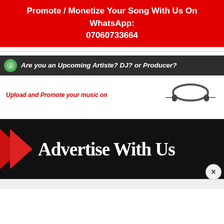Promote / Monetize Your Song With Us On WhatsApp: 07060733664
Are you an Upcoming Artiste? DJ? or Producer?
Upload and Promote your music on
[Figure (illustration): Headphones icon/image]
[Figure (infographic): Advertise With Us banner with red arrow chevron on black background]
×